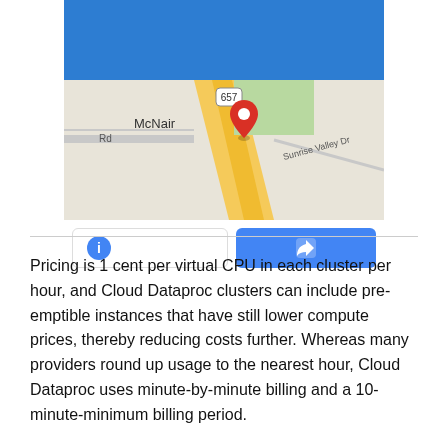[Figure (screenshot): Google Maps screenshot showing McNair area with a red location pin near route 657 and Sunrise Valley Dr, with a blue header above the map, and two buttons below: an info button (blue circle with i) and a directions button (blue background with turn arrow icon).]
Pricing is 1 cent per virtual CPU in each cluster per hour, and Cloud Dataproc clusters can include pre-emptible instances that have still lower compute prices, thereby reducing costs further. Whereas many providers round up usage to the nearest hour, Cloud Dataproc uses minute-by-minute billing and a 10-minute-minimum billing period.